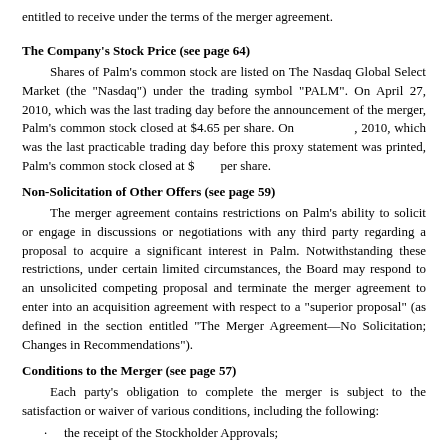entitled to receive under the terms of the merger agreement.
The Company's Stock Price (see page 64)
Shares of Palm's common stock are listed on The Nasdaq Global Select Market (the "Nasdaq") under the trading symbol "PALM". On April 27, 2010, which was the last trading day before the announcement of the merger, Palm's common stock closed at $4.65 per share. On , 2010, which was the last practicable trading day before this proxy statement was printed, Palm's common stock closed at $        per share.
Non-Solicitation of Other Offers (see page 59)
The merger agreement contains restrictions on Palm's ability to solicit or engage in discussions or negotiations with any third party regarding a proposal to acquire a significant interest in Palm. Notwithstanding these restrictions, under certain limited circumstances, the Board may respond to an unsolicited competing proposal and terminate the merger agreement to enter into an acquisition agreement with respect to a "superior proposal" (as defined in the section entitled "The Merger Agreement—No Solicitation; Changes in Recommendations").
Conditions to the Merger (see page 57)
Each party's obligation to complete the merger is subject to the satisfaction or waiver of various conditions, including the following:
the receipt of the Stockholder Approvals;
the absence of any injunctions or legal prohibitions preventing the consummation of the merger;